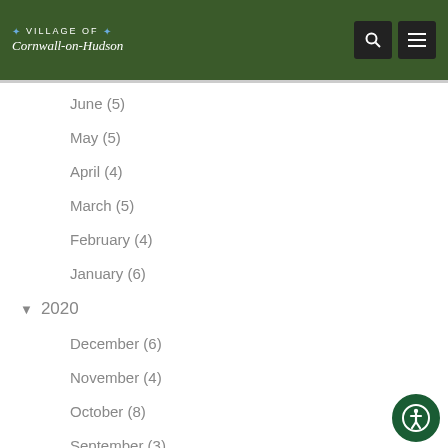Village of Cornwall-on-Hudson
June (5)
May (5)
April (4)
March (5)
February (4)
January (6)
2020
December (6)
November (4)
October (8)
September (3)
July (4)
June (4)
May (9)